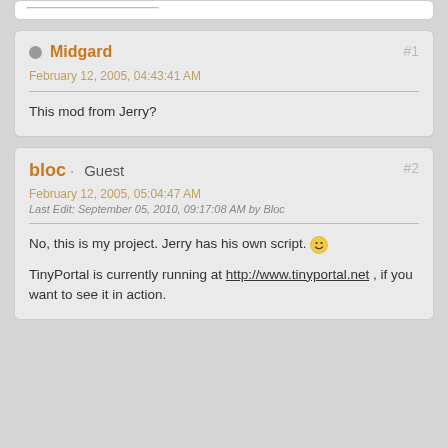Midgard
February 12, 2005, 04:43:41 AM
#1
This mod from Jerry?
bloc · Guest
February 12, 2005, 05:04:47 AM
Last Edit: September 05, 2010, 09:17:08 AM by Bloc
#2
No, this is my project. Jerry has his own script. :)
TinyPortal is currently running at http://www.tinyportal.net , if you want to see it in action.